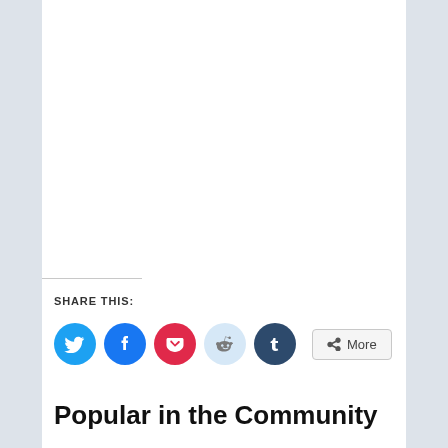SHARE THIS:
[Figure (infographic): Social sharing buttons: Twitter (blue circle), Facebook (blue circle), Pocket (red circle), Reddit (light blue circle), Tumblr (dark blue circle), and a More button with share icon]
Popular in the Community